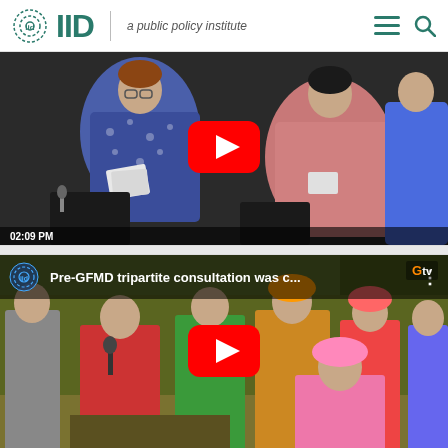IID — a public policy institute
[Figure (screenshot): YouTube video thumbnail showing a conference/consultation scene with a woman in patterned blue dress reading papers and another woman in pink traditional dress, with a YouTube play button overlay. Timestamp 02:09 PM visible at bottom left.]
[Figure (screenshot): YouTube video thumbnail with title 'Pre-GFMD tripartite consultation was c...' showing a group of people in colorful traditional dress seated in an audience, with a YouTube play button overlay and GTV logo in top right corner.]